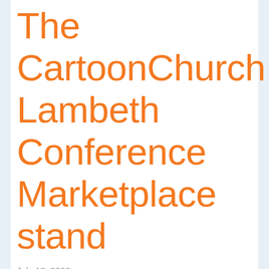The CartoonChurch Lambeth Conference Marketplace stand
July 18, 2008
The CartoonChurch stand in the Lambeth Conference Marketplace will open on Monday for the best part of two weeks. It will be open from 11am until 9pm most days except Thursday 24 July. This is the stand in its pre-